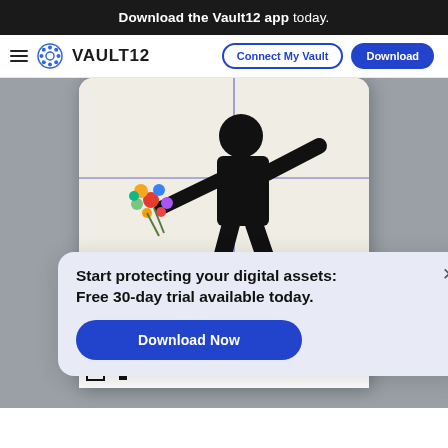Download the Vault12 app today.
[Figure (screenshot): Vault12 app website navigation bar with hamburger menu, Vault12 logo, Connect My Vault outline button, and Download solid blue button]
[Figure (screenshot): Phone mockup showing Banksy Flower Thrower artwork with crosshair overlay, QR code at bottom left, and metadata strip at bottom]
Start protecting your digital assets: Free 30-day trial available today.
Download Now